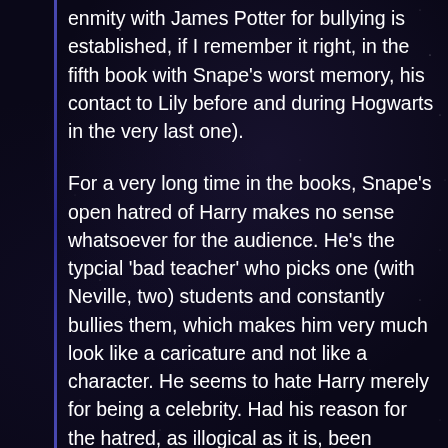enmity with James Potter for bullying is established, if I remember it right, in the fifth book with Snape's worst memory, his contact to Lily before and during Hogwarts in the very last one).
For a very long time in the books, Snape's open hatred of Harry makes no sense whatsoever for the audience. He's the typcial 'bad teacher' who picks one (with Neville, two) students and constantly bullies them, which makes him very much look like a caricature and not like a character. He seems to hate Harry merely for being a celebrity. Had his reason for the hatred, as illogical as it is, been established earlier, it would have been different but for that it should